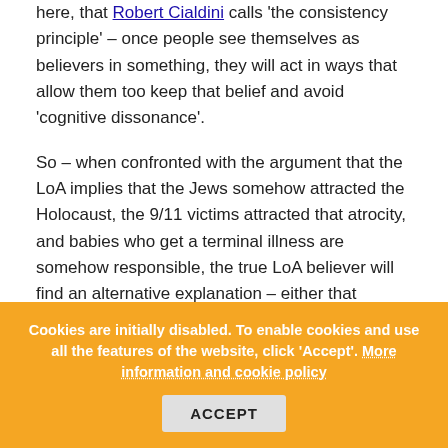here, that Robert Cialdini calls 'the consistency principle' – once people see themselves as believers in something, they will act in ways that allow them too keep that belief and avoid 'cognitive dissonance'.
So – when confronted with the argument that the LoA implies that the Jews somehow attracted the Holocaust, the 9/11 victims attracted that atrocity, and babies who get a terminal illness are somehow responsible, the true LoA believer will find an alternative explanation – either that 'unconsciously' or for reasons related to 'karma' the victims attracted the bad things that happened to them. Or there is a more extreme argument used by Steve Pavlina called 'Subjective Reality' – that "there's only one consciousness, and it's
Cookies are initially disabled. To enable cookies and use all the features of the website, click 'Accept'. More information and cookie policy   ACCEPT